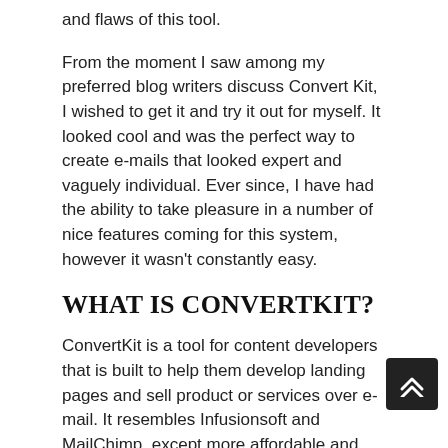and flaws of this tool.
From the moment I saw among my preferred blog writers discuss Convert Kit, I wished to get it and try it out for myself. It looked cool and was the perfect way to create e-mails that looked expert and vaguely individual. Ever since, I have had the ability to take pleasure in a number of nice features coming for this system, however it wasn't constantly easy.
WHAT IS CONVERTKIT?
ConvertKit is a tool for content developers that is built to help them develop landing pages and sell product or services over e-mail. It resembles Infusionsoft and MailChimp, except more affordable and easier to use.
CONVERTKIT REVIEW SUMMARY